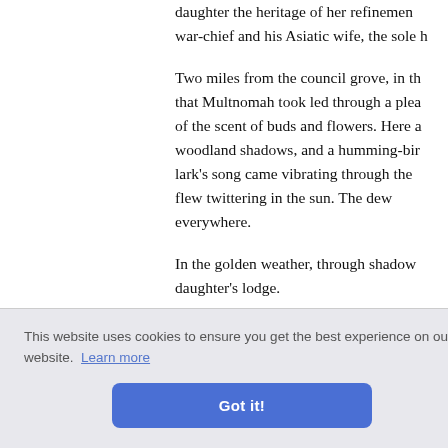daughter the heritage of her refinement war-chief and his Asiatic wife, the sole h
Two miles from the council grove, in th that Multnomah took led through a plea of the scent of buds and flowers. Here a woodland shadows, and a humming-bir lark's song came vibrating through the flew twittering in the sun. The dew everywhere.
In the golden weather, through shadow daughter's lodge.
acted his lake. Se ncealed f ing them.
ess of so moulded; her long black hair fell in ri
This website uses cookies to ensure you get the best experience on our website. Learn more
Got it!